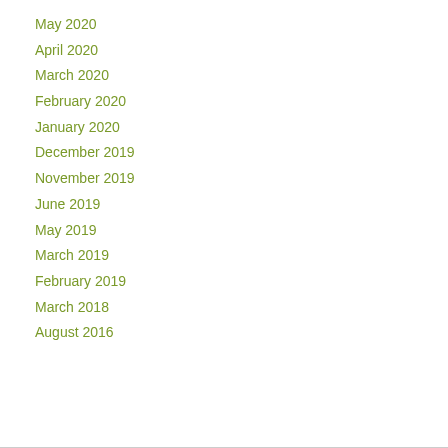May 2020
April 2020
March 2020
February 2020
January 2020
December 2019
November 2019
June 2019
May 2019
March 2019
February 2019
March 2018
August 2016